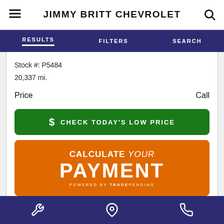JIMMY BRITT CHEVROLET
RESULTS   FILTERS   SEARCH
Stock #: P5484
20,337 mi.
Price   Call
[Figure (screenshot): Green button with dollar sign: CHECK TODAY'S LOW PRICE]
[Figure (screenshot): Orange button: CALCULATE YOUR PAYMENT powered by TRADEPENDING]
Bottom navigation bar with wrench, location pin, and phone icons